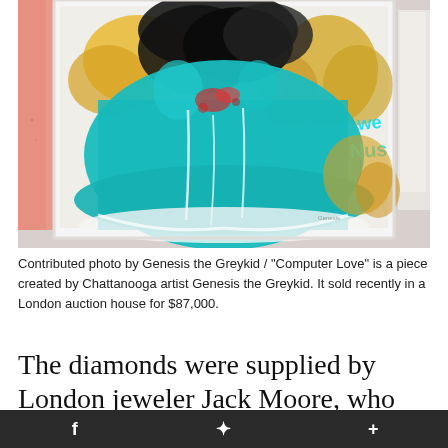[Figure (photo): Abstract painting titled 'Computer Love' by Chattanooga artist Genesis the Greykid. The artwork features bold teal/turquoise areas with black, yellow, orange, red, and white paint strokes. It is displayed in a white frame on a gallery wall. A pink canvas is partially visible on the left side.]
Contributed photo by Genesis the Greykid / "Computer Love" is a piece created by Chattanooga artist Genesis the Greykid. It sold recently in a London auction house for $87,000.
The diamonds were supplied by London jeweler Jack Moore, who sent him 500 hand-
f    ✦    +